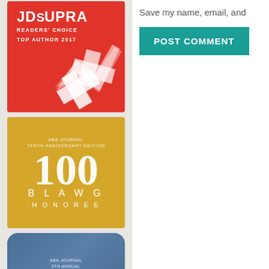[Figure (logo): JD Supra Readers' Choice Top Author 2017 badge - red background with white checkmark/flag graphic]
[Figure (logo): ABA Journal Tenth Anniversary Edition Blawg 100 Honoree badge - gold/yellow background with large 100 numeral]
[Figure (logo): ABA Journal 9th Annual Blawg 100 2013 badge - blue rounded square with BLAWG 100 text]
[Figure (logo): ABA Journal Annual Blawg badge - decorative emblem with red and gold colors]
Save my name, email, and
POST COMMENT